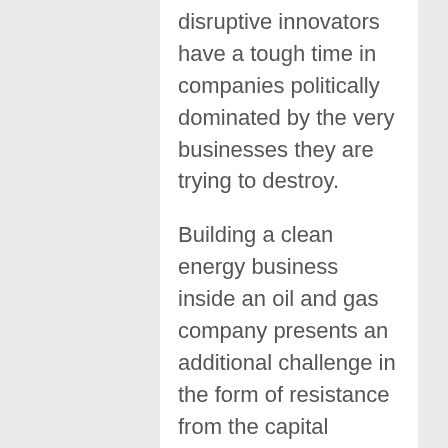disruptive innovators have a tough time in companies politically dominated by the very businesses they are trying to destroy.
Building a clean energy business inside an oil and gas company presents an additional challenge in the form of resistance from the capital markets. Clean energy companies can be broadly divided into technology providers on the one hand, and